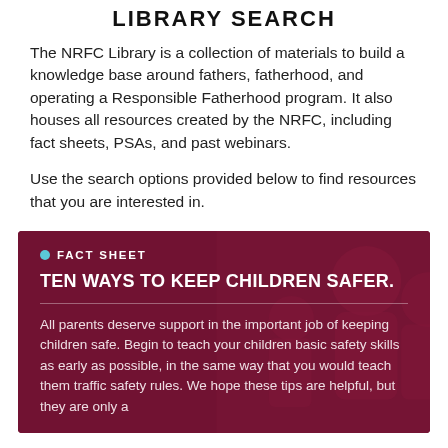LIBRARY SEARCH
The NRFC Library is a collection of materials to build a knowledge base around fathers, fatherhood, and operating a Responsible Fatherhood program. It also houses all resources created by the NRFC, including fact sheets, PSAs, and past webinars.
Use the search options provided below to find resources that you are interested in.
[Figure (infographic): Dark red/maroon card with background photo of adults and children. Contains a fact sheet label with teal dot, bold white title 'TEN WAYS TO KEEP CHILDREN SAFER.' and a paragraph of white text beginning 'All parents deserve support in the important job of keeping children safe...']